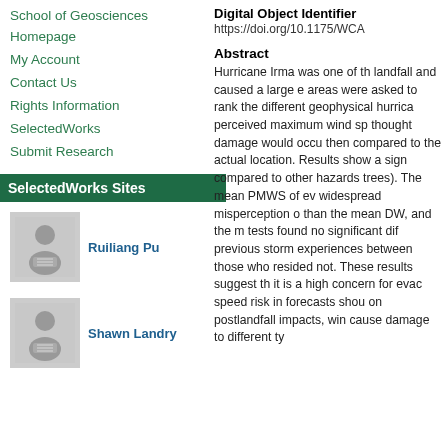School of Geosciences Homepage
My Account
Contact Us
Rights Information
SelectedWorks
Submit Research
SelectedWorks Sites
Ruiliang Pu
Shawn Landry
Digital Object Identifier
https://doi.org/10.1175/WCA
Abstract
Hurricane Irma was one of th landfall and caused a large e areas were asked to rank the different geophysical hurrica perceived maximum wind sp thought damage would occu then compared to the actual location. Results show a sign compared to other hazards trees). The mean PMWS of ev widespread misperception o than the mean DW, and the m tests found no significant dif previous storm experiences between those who resided not. These results suggest th it is a high concern for evac speed risk in forecasts shou on postlandfall impacts, win cause damage to different ty